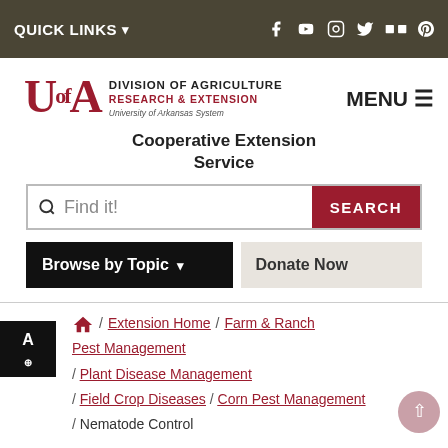QUICK LINKS ▼  [social icons: f, youtube, instagram, twitter, flickr, pinterest]
[Figure (logo): University of Arkansas Division of Agriculture Research & Extension logo with UofA text and shield]
MENU ☰
Cooperative Extension Service
🔍 Find it!  SEARCH
Browse by Topic ▼   Donate Now
/ Extension Home / Farm & Ranch Pest Management / Plant Disease Management / Field Crop Diseases / Corn Pest Management / Nematode Control